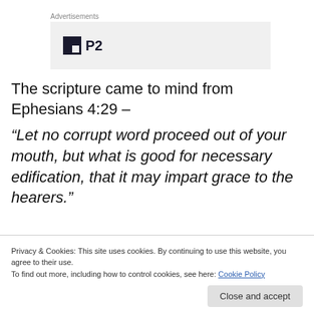Advertisements
[Figure (logo): P2 logo with dark square icon and bold P2 text on a light grey background]
The scripture came to mind from Ephesians 4:29 –
“Let no corrupt word proceed out of your mouth, but what is good for necessary edification, that it may impart grace to the hearers.”
Privacy & Cookies: This site uses cookies. By continuing to use this website, you agree to their use.
To find out more, including how to control cookies, see here: Cookie Policy